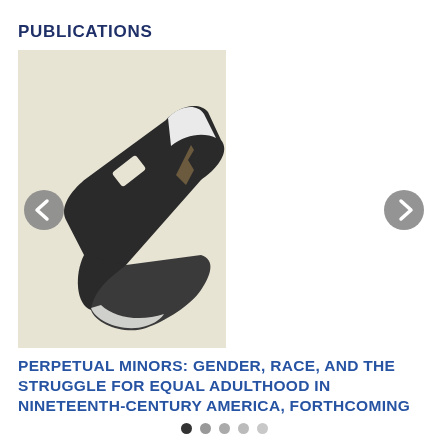PUBLICATIONS
[Figure (illustration): Book icon on beige/tan background — dark silhouette of a closed book with pages visible, angled slightly]
PERPETUAL MINORS: GENDER, RACE, AND THE STRUGGLE FOR EQUAL ADULTHOOD IN NINETEENTH-CENTURY AMERICA, FORTHCOMING